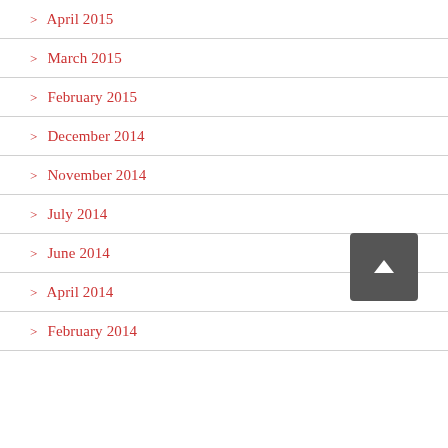April 2015
March 2015
February 2015
December 2014
November 2014
July 2014
June 2014
April 2014
February 2014